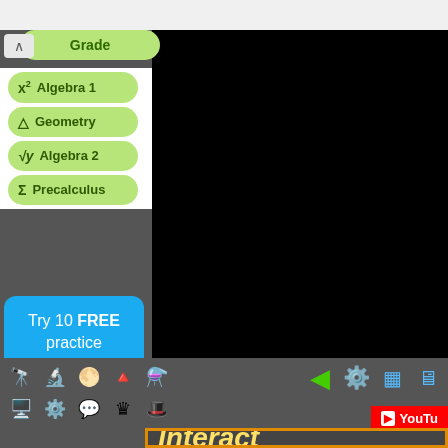[Figure (screenshot): Educational math app interface showing grade/course navigation menu on the left with green pill-shaped buttons for Algebra 1, Geometry, Algebra 2, Precalculus, a blue 'Try 10 FREE practice problems!' button, a black video area, toolbar icons, YouTube button, and 'Interact' text in gold italic at the bottom.]
Algebra 1
Geometry
Algebra 2
Precalculus
Try 10 FREE practice problems!